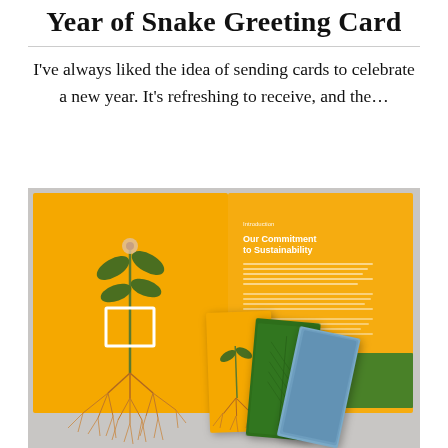Year of Snake Greeting Card
I've always liked the idea of sending cards to celebrate a new year. It's refreshing to receive, and the…
[Figure (photo): Photograph of an open greeting card and smaller cards fanned out on a light gray surface. The cards feature an orange/yellow background with illustrated plant root systems. The open brochure-style card shows text reading 'Introduction' and 'Our Commitment to Sustainability' on the right page, with a plant illustration spanning the left page. Three smaller standing cards are fanned to the right: one orange with a plant, one showing a green leaf texture, and one showing a blue water texture.]